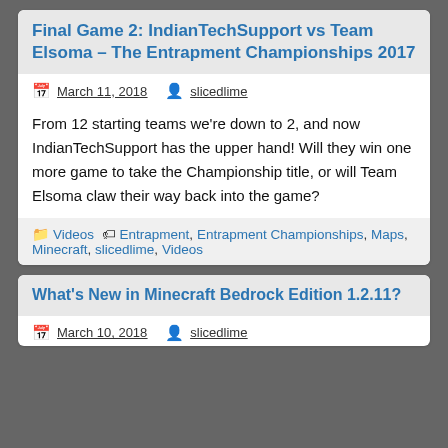Final Game 2: IndianTechSupport vs Team Elsoma – The Entrapment Championships 2017
March 11, 2018   slicedlime
From 12 starting teams we're down to 2, and now IndianTechSupport has the upper hand! Will they win one more game to take the Championship title, or will Team Elsoma claw their way back into the game?
Videos   Entrapment, Entrapment Championships, Maps, Minecraft, slicedlime, Videos
What's New in Minecraft Bedrock Edition 1.2.11?
March 10, 2018   slicedlime